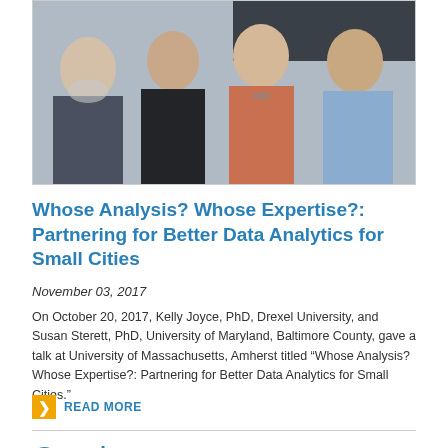[Figure (photo): Group photo of four people smiling, three women and one man, standing together indoors]
Whose Analysis? Whose Expertise?: Partnering for Better Data Analytics for Small Cities
November 03, 2017
On October 20, 2017, Kelly Joyce, PhD, Drexel University, and Susan Sterett, PhD, University of Maryland, Baltimore County, gave a talk at University of Massachusetts, Amherst titled “Whose Analysis? Whose Expertise?: Partnering for Better Data Analytics for Small Cities.”
READ MORE
October